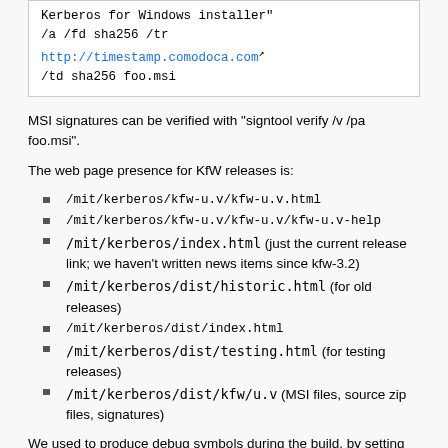Kerberos for Windows installer" /a /fd sha256 /tr http://timestamp.comodoca.com /td sha256 foo.msi
MSI signatures can be verified with "signtool verify /v /pa foo.msi".
The web page presence for KfW releases is:
/mit/kerberos/kfw-u.v/kfw-u.v.html
/mit/kerberos/kfw-u.v/kfw-u.v/kfw-u.v-help
/mit/kerberos/index.html (just the current release link; we haven't written news items since kfw-3.2)
/mit/kerberos/dist/historic.html (for old releases)
/mit/kerberos/dist/index.html
/mit/kerberos/dist/testing.html (for testing releases)
/mit/kerberos/dist/kfw/u.v (MSI files, source zip files, signatures)
We used to produce debug symbols during the build, by setting DEBUG_SYMBOL=1 during the build (but not while building the installer)